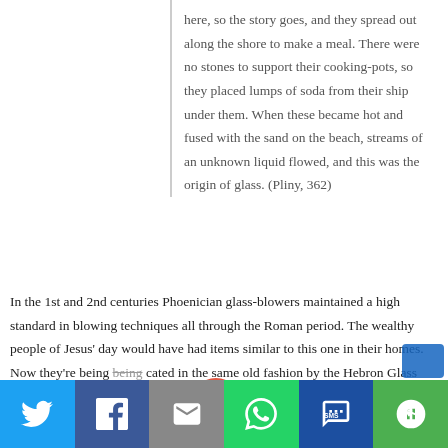here, so the story goes, and they spread out along the shore to make a meal. There were no stones to support their cooking-pots, so they placed lumps of soda from their ship under them. When these became hot and fused with the sand on the beach, streams of an unknown liquid flowed, and this was the origin of glass. (Pliny, 362)
In the 1st and 2nd centuries Phoenician glass-blowers maintained a high standard in blowing techniques all through the Roman period. The wealthy people of Jesus' day would have had items similar to this one in their homes. Now they're being [edu]cated in the same old fashion by the Hebron Glass [Factory]. They often add silver to the molten glass to give the
[Figure (other): Social media share bar at the bottom with Twitter, Facebook, Email, WhatsApp, SMS, and More buttons. A shopping cart icon with red badge showing '0' is visible above the bar.]